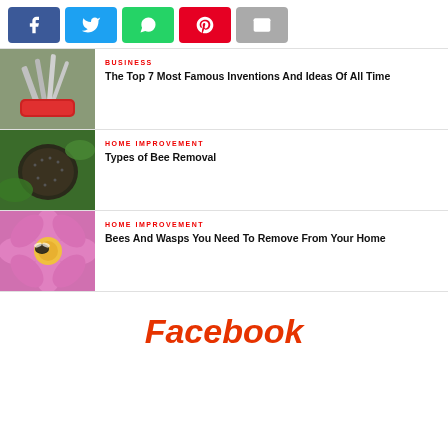[Figure (other): Social share buttons: Facebook (blue), Twitter (light blue), WhatsApp (green), Pinterest (red), Email (gray)]
[Figure (photo): Swiss army knife open on a surface]
BUSINESS
The Top 7 Most Famous Inventions And Ideas Of All Time
[Figure (photo): Swarm of bees on green leaves]
HOME IMPROVEMENT
Types of Bee Removal
[Figure (photo): Bee on a pink flower]
HOME IMPROVEMENT
Bees And Wasps You Need To Remove From Your Home
Facebook